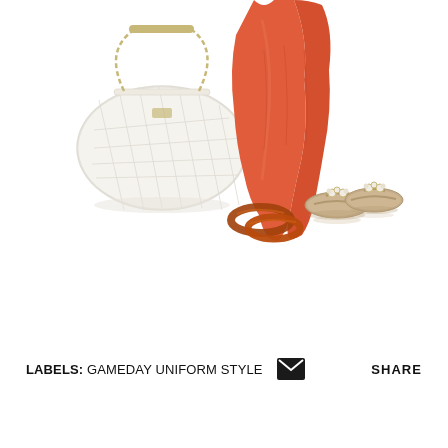[Figure (illustration): Fashion outfit collage showing a white quilted handbag with gold chain handles, a coral/orange chiffon skirt or dress, amber/brown bangle bracelets, and beige/nude jeweled thong sandals arranged on a white background.]
LABELS: GAMEDAY UNIFORM STYLE   [email icon]   SHARE